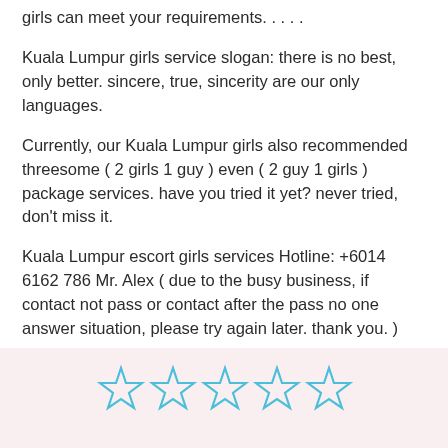girls can meet your requirements. . . . .
Kuala Lumpur girls service slogan: there is no best, only better. sincere, true, sincerity are our only languages.
Currently, our Kuala Lumpur girls also recommended threesome ( 2 girls 1 guy ) even ( 2 guy 1 girls ) package services. have you tried it yet? never tried, don't miss it.
Kuala Lumpur escort girls services Hotline: +6014 6162 786 Mr. Alex ( due to the busy business, if contact not pass or contact after the pass no one answer situation, please try again later. thank you. )
[Figure (other): Five empty star rating icons in blue outline on a pink background]